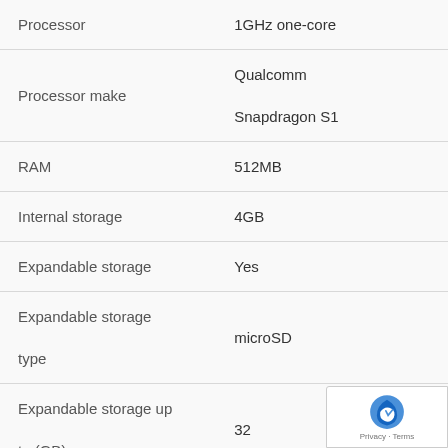| Specification | Value |
| --- | --- |
| Processor | 1GHz one-core |
| Processor make | Qualcomm Snapdragon S1 |
| RAM | 512MB |
| Internal storage | 4GB |
| Expandable storage | Yes |
| Expandable storage type | microSD |
| Expandable storage up to (GB) | 32 |